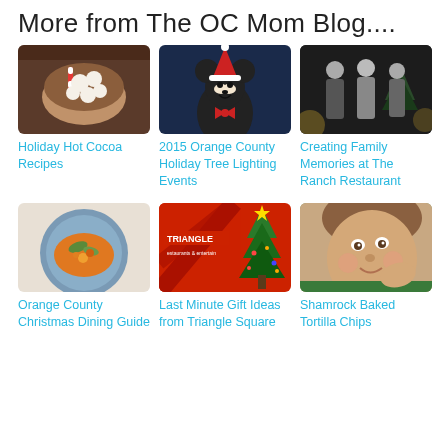More from The OC Mom Blog....
[Figure (photo): Bowl of holiday treats with candy canes]
[Figure (photo): Mickey Mouse in Christmas holiday outfit]
[Figure (photo): Black and white photo of people at The Ranch Restaurant]
Holiday Hot Cocoa Recipes
2015 Orange County Holiday Tree Lighting Events
Creating Family Memories at The Ranch Restaurant
[Figure (photo): Orange soup dish with garnish on a blue plate]
[Figure (photo): The Triangle sign with Christmas tree]
[Figure (photo): Young girl smiling, close-up portrait]
Orange County Christmas Dining Guide
Last Minute Gift Ideas from Triangle Square
Shamrock Baked Tortilla Chips